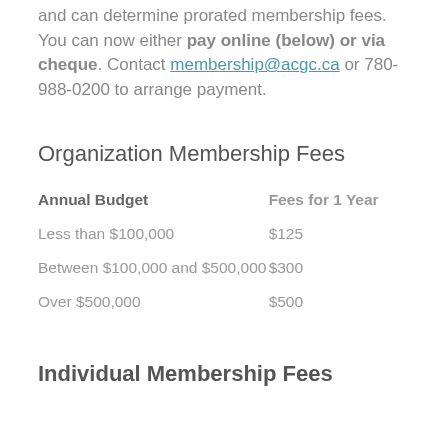and can determine prorated membership fees. You can now either pay online (below) or via cheque. Contact membership@acgc.ca or 780-988-0200 to arrange payment.
Organization Membership Fees
| Annual Budget | Fees for 1 Year |
| --- | --- |
| Less than $100,000 | $125 |
| Between $100,000 and $500,000 | $300 |
| Over $500,000 | $500 |
Individual Membership Fees